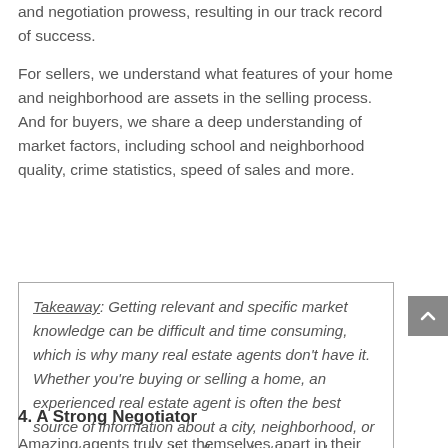and negotiation prowess, resulting in our track record of success.
For sellers, we understand what features of your home and neighborhood are assets in the selling process. And for buyers, we share a deep understanding of market factors, including school and neighborhood quality, crime statistics, speed of sales and more.
Takeaway: Getting relevant and specific market knowledge can be difficult and time consuming, which is why many real estate agents don't have it. Whether you're buying or selling a home, an experienced real estate agent is often the best source of information about a city, neighborhood, or even street … we're literally conducting market research every day.
4. A Strong Negotiator
Amazing agents truly set themselves apart in their